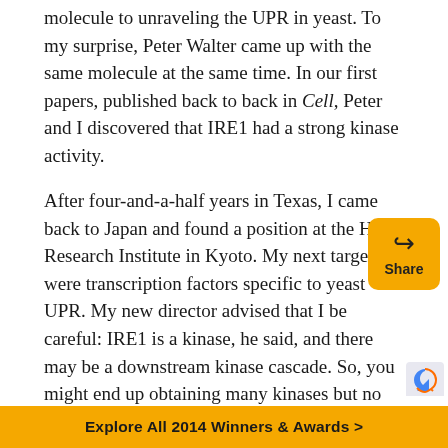molecule to unraveling the UPR in yeast. To my surprise, Peter Walter came up with the same molecule at the same time. In our first papers, published back to back in Cell, Peter and I discovered that IRE1 had a strong kinase activity.

After four-and-a-half years in Texas, I came back to Japan and found a position at the HSP Research Institute in Kyoto. My next targets were transcription factors specific to yeast UPR. My new director advised that I be careful: IRE1 is a kinase, he said, and there may be a downstream kinase cascade. So, you might end up obtaining many kinases but no
[Figure (other): Share button — yellow rounded square with share arrow icon and 'Share' label]
Explore All 2014 Winners & Awards >